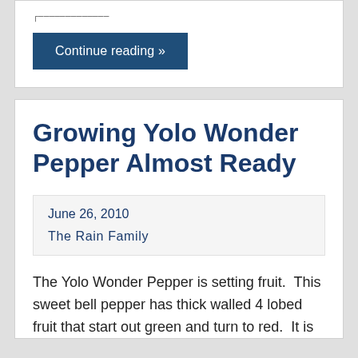Continue reading »
Growing Yolo Wonder Pepper Almost Ready
June 26, 2010
The Rain Family
The Yolo Wonder Pepper is setting fruit.  This sweet bell pepper has thick walled 4 lobed fruit that start out green and turn to red.  It is